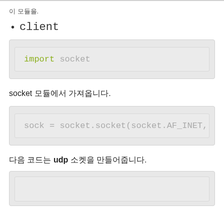이 모듈을.
client
[Figure (screenshot): Code block showing: import socket]
socket 모듈에서 가져옵니다.
[Figure (screenshot): Code block showing: sock = socket.socket(socket.AF_INET,]
다음 코드는 udp 소켓을 만들어줍니다.
[Figure (screenshot): Code block (partial, cut off at bottom)]